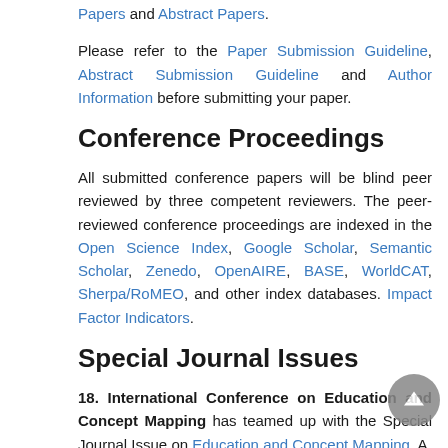Papers and Abstract Papers.
Please refer to the Paper Submission Guideline, Abstract Submission Guideline and Author Information before submitting your paper.
Conference Proceedings
All submitted conference papers will be blind peer reviewed by three competent reviewers. The peer-reviewed conference proceedings are indexed in the Open Science Index, Google Scholar, Semantic Scholar, Zenedo, OpenAIRE, BASE, WorldCAT, Sherpa/RoMEO, and other index databases. Impact Factor Indicators.
Special Journal Issues
18. International Conference on Education and Concept Mapping has teamed up with the Special Journal Issue on Education and Concept Mapping. A